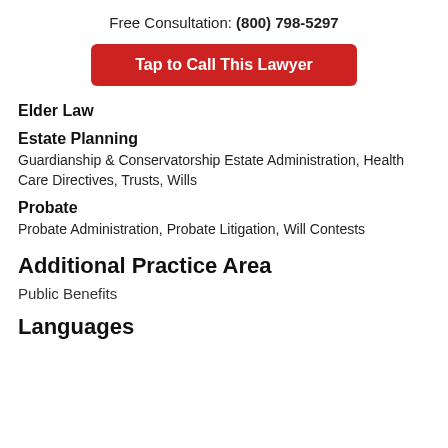Free Consultation: (800) 798-5297
Tap to Call This Lawyer
Elder Law
Estate Planning
Guardianship & Conservatorship Estate Administration, Health Care Directives, Trusts, Wills
Probate
Probate Administration, Probate Litigation, Will Contests
Additional Practice Area
Public Benefits
Languages